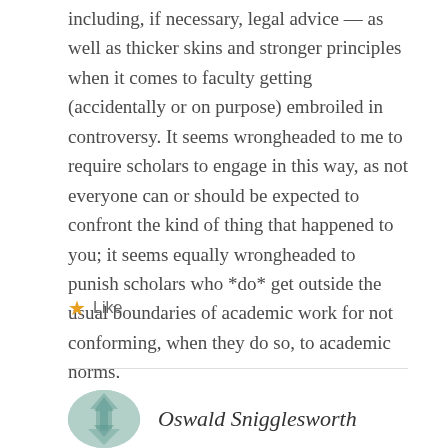including, if necessary, legal advice — as well as thicker skins and stronger principles when it comes to faculty getting (accidentally or on purpose) embroiled in controversy. It seems wrongheaded to me to require scholars to engage in this way, as not everyone can or should be expected to confront the kind of thing that happened to you; it seems equally wrongheaded to punish scholars who *do* get outside the usual boundaries of academic work for not conforming, when they do so, to academic norms.
★ Like
Oswald Snigglesworth